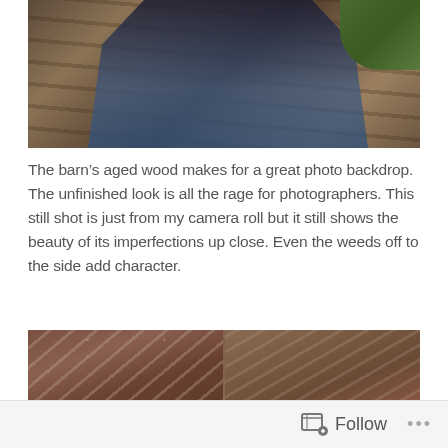[Figure (photo): A person leaning against an aged barn wood wall, wearing a black top and blue jeans with a denim jacket. The rustic, weathered wood boards and green foliage are visible. The person's hand is extended outward.]
The barn's aged wood makes for a great photo backdrop. The unfinished look is all the rage for photographers. This still shot is just from my camera roll but it still shows the beauty of its imperfections up close. Even the weeds off to the side add character.
[Figure (photo): Close-up photo of aged barn wood showing weathered, cracked, and peeling red-brown paint on wooden boards. The left half shows an X-shaped crack pattern; the right half shows diagonal planks with peeling gray paint.]
Follow ...